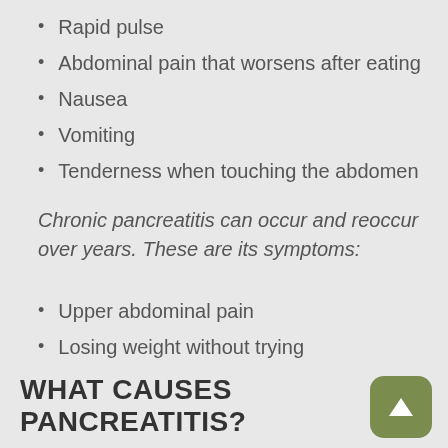Rapid pulse
Abdominal pain that worsens after eating
Nausea
Vomiting
Tenderness when touching the abdomen
Chronic pancreatitis can occur and reoccur over years. These are its symptoms:
Upper abdominal pain
Losing weight without trying
Oily, smell stools
WHAT CAUSES PANCREATITIS?